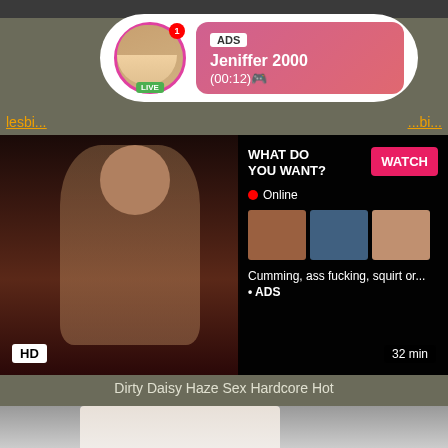[Figure (screenshot): Adult website screenshot showing a video thumbnail of a woman, with an ad overlay bubble showing 'Jeniffer 2000 (00:12)' with LIVE badge, and a 'WHAT DO YOU WANT? WATCH' panel with Online indicator and thumbnails, HD badge and 32 min duration label]
lesbi... bi...
Dirty Daisy Haze Sex Hardcore Hot
sex, hardcore, hot, lesbians, sucking, slut, pussy licking, ...